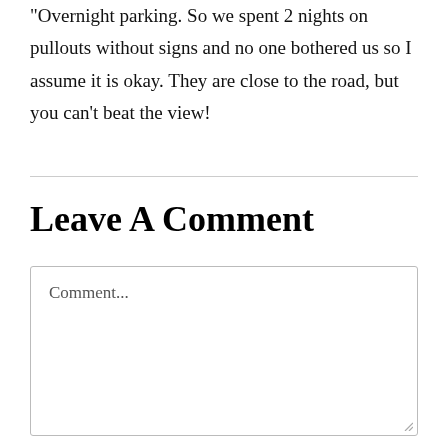"Overnight parking. So we spent 2 nights on pullouts without signs and no one bothered us so I assume it is okay. They are close to the road, but you can't beat the view!
Leave A Comment
Comment...